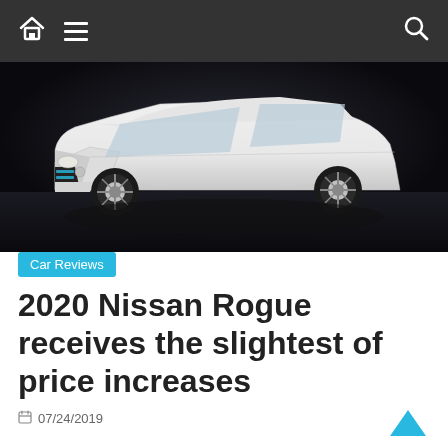Navigation bar with home, menu, and search icons
[Figure (photo): A white Nissan Rogue SUV photographed on a dark reflective surface in a studio setting]
Car Reviews
2020 Nissan Rogue receives the slightest of price increases
07/24/2019
For 2020, the Nissan Rogue will cost $180 more than before.